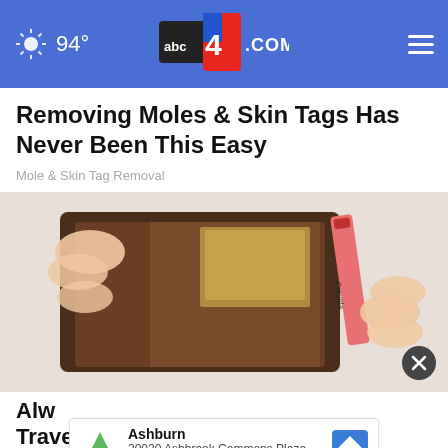94° abc4.com
Removing Moles & Skin Tags Has Never Been This Easy
Mole & Skin Tag Removal
[Figure (photo): Hands holding open a brown leather wallet with a Crayola crayon and cash visible inside, on a white background]
Alw... Travelling, Here's Why
Ashburn
20020 Ashbrook Commons Plaza, Ste .